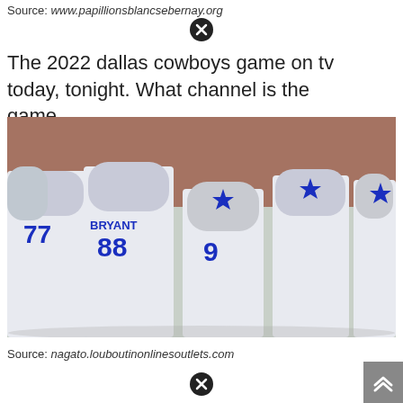Source: www.papillionsblancsebernay.org
The 2022 dallas cowboys game on tv today, tonight. What channel is the game.
[Figure (photo): Dallas Cowboys football players huddled together on the field, showing jersey numbers 77, 88 (BRYANT), and 9 among others, all wearing gray and blue Cowboys uniforms and helmets.]
Source: nagato.louboutinonlinesoutlets.com